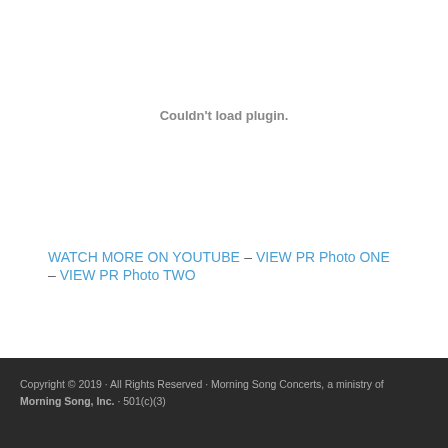Couldn't load plugin.
WATCH MORE ON YOUTUBE –  VIEW PR Photo ONE –  VIEW PR Photo TWO
Copyright © 2019 · All Rights Reserved · Morning Song Concerts, a ministry of Morning Song, Inc. · 501(c)(3)